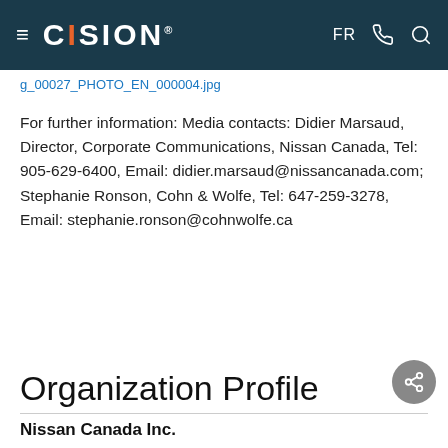CISION — FR [phone] [search]
g_00027_PHOTO_EN_000004.jpg
For further information: Media contacts: Didier Marsaud, Director, Corporate Communications, Nissan Canada, Tel: 905-629-6400, Email: didier.marsaud@nissancanada.com; Stephanie Ronson, Cohn & Wolfe, Tel: 647-259-3278, Email: stephanie.ronson@cohnwolfe.ca
Organization Profile
Nissan Canada Inc.